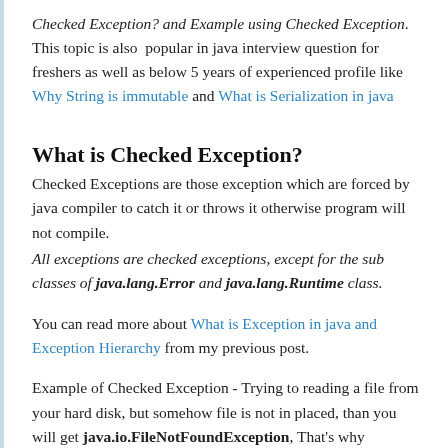Checked Exception? and Example using Checked Exception. This topic is also popular in java interview question for freshers as well as below 5 years of experienced profile like Why String is immutable and What is Serialization in java
What is Checked Exception?
Checked Exceptions are those exception which are forced by java compiler to catch it or throws it otherwise program will not compile.
All exceptions are checked exceptions, except for the sub classes of java.lang.Error and java.lang.Runtime class.
You can read more about What is Exception in java and Exception Hierarchy from my previous post.
Example of Checked Exception - Trying to reading a file from your hard disk, but somehow file is not in placed, than you will get java.io.FileNotFoundException, That's why compiler forced you to catch the FileNotFoundException or throws it otherwise